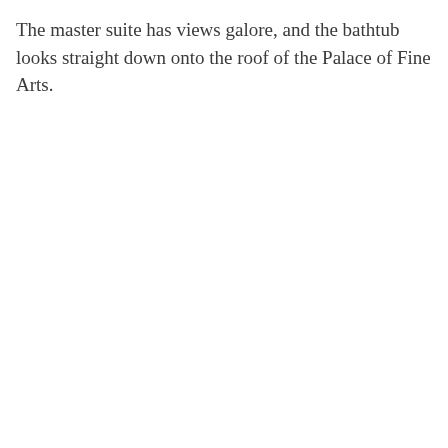The master suite has views galore, and the bathtub looks straight down onto the roof of the Palace of Fine Arts.